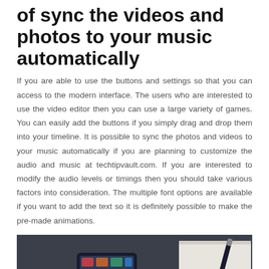of sync the videos and photos to your music automatically
If you are able to use the buttons and settings so that you can access to the modern interface. The users who are interested to use the video editor then you can use a large variety of games. You can easily add the buttons if you simply drag and drop them into your timeline. It is possible to sync the photos and videos to your music automatically if you are planning to customize the audio and music at techtipvault.com. If you are interested to modify the audio levels or timings then you should take various factors into consideration. The multiple font options are available if you want to add the text so it is definitely possible to make the pre-made animations.
[Figure (photo): Photo of a smartphone with earbuds/headphones tangled around it on a dark desk surface, with a pen and notebook visible in the background]